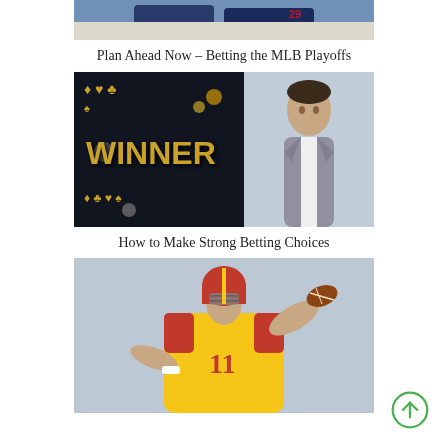[Figure (photo): Cropped photo of MLB baseball players in uniforms, partially visible at top of page]
Plan Ahead Now – Betting the MLB Playoffs
[Figure (photo): Composite image: dark background with gold card suits and chips on left, large gold 'WINNER' text, and a man in grey suit on right with hand on chin thinking]
How to Make Strong Betting Choices
[Figure (photo): Football quarterback in yellow and red USC-style jersey and helmet, throwing a football, blurred background]